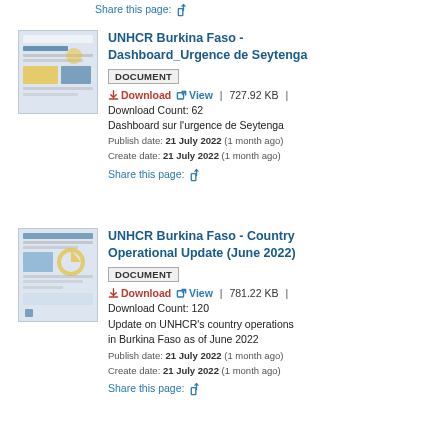Share this page:
UNHCR Burkina Faso - Dashboard_Urgence de Seytenga
DOCUMENT
Download | View | 727.92 KB |
Download Count: 62
Dashboard sur l'urgence de Seytenga
Publish date: 21 July 2022 (1 month ago)
Create date: 21 July 2022 (1 month ago)
Share this page:
UNHCR Burkina Faso - Country Operational Update (June 2022)
DOCUMENT
Download | View | 781.22 KB |
Download Count: 120
Update on UNHCR's country operations in Burkina Faso as of June 2022
Publish date: 21 July 2022 (1 month ago)
Create date: 21 July 2022 (1 month ago)
Share this page: